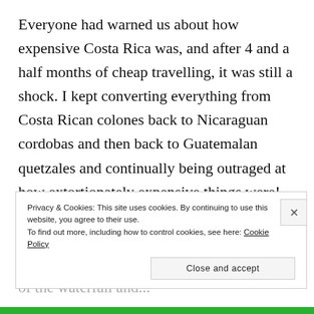Everyone had warned us about how expensive Costa Rica was, and after 4 and a half months of cheap travelling, it was still a shock.  I kept converting everything from Costa Rican colones back to Nicaraguan cordobas and then back to Guatemalan quetzales and continually being outraged at how extortionately expensive things were!  Still, Montezuma is a really nice laid back place with a beautiful beach and a nice waterfall.  I climbed up some rocks on the side of the waterfall and...
Privacy & Cookies: This site uses cookies. By continuing to use this website, you agree to their use. To find out more, including how to control cookies, see here: Cookie Policy
Close and accept